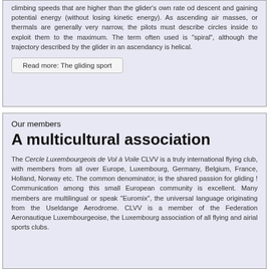climbing speeds that are higher than the glider's own rate od descent and gaining potential energy (without losing kinetic energy). As ascending air masses, or thermals are generally very narrow, the pilots must describe circles inside to exploit them to the maximum. The term often used is "spiral", although the trajectory described by the glider in an ascendancy is helical.
Read more: The gliding sport
Our members
A multicultural association
The Cercle Luxembourgeois de Vol à Voile CLVV is a truly international flying club, with members from all over Europe, Luxembourg, Germany, Belgium, France, Holland, Norway etc. The common denominator, is the shared passion for gliding ! Communication among this small European community is excellent. Many members are multilingual or speak "Euromix", the universal language originating from the Useldange Aerodrome. CLVV is a member of the Federation Aeronautique Luxembourgeoise, the Luxembourg association of all flying and airial sports clubs.